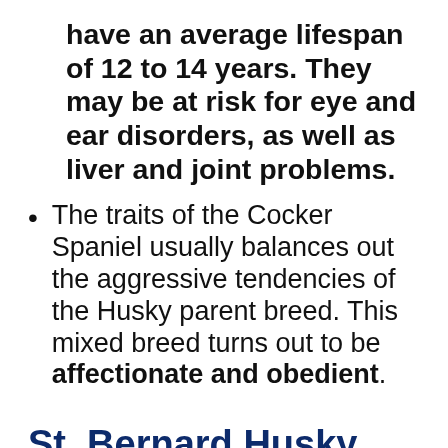have an average lifespan of 12 to 14 years. They may be at risk for eye and ear disorders, as well as liver and joint problems.
The traits of the Cocker Spaniel usually balances out the aggressive tendencies of the Husky parent breed. This mixed breed turns out to be affectionate and obedient.
St. Bernard Husky Mix = Bernsky